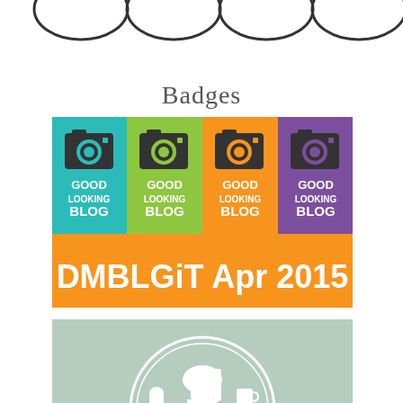[Figure (illustration): Partial view of circular badge icons at top of page, cropped]
Badges
[Figure (illustration): DMBLGiT Apr 2015 Good Looking Blog badge - four colored panels (teal, green, orange, purple) each with a camera icon and 'GOOD LOOKING BLOG' text, below which is an orange banner reading 'DMBLGiT Apr 2015']
[Figure (illustration): KitchenAid ProBaker 2015 badge - mint/sage green square badge with white circular stamp design featuring a stand mixer, cupcake and mug icons, text reading 'KITCHENAID PROBAKER 2015']